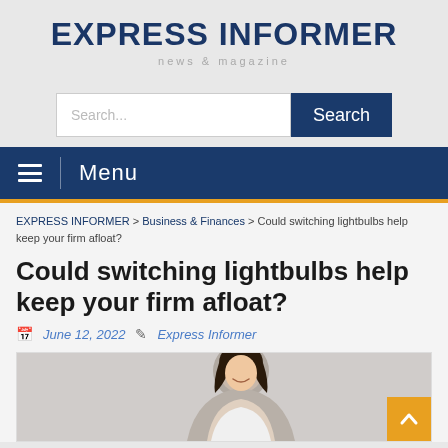EXPRESS INFORMER
news & magazine
Search...
Menu
EXPRESS INFORMER > Business & Finances > Could switching lightbulbs help keep your firm afloat?
Could switching lightbulbs help keep your firm afloat?
June 12, 2022   Express Informer
[Figure (photo): Woman smiling, partial photo visible at bottom of page]